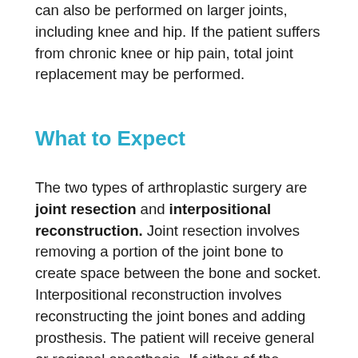can also be performed on larger joints, including knee and hip. If the patient suffers from chronic knee or hip pain, total joint replacement may be performed.
What to Expect
The two types of arthroplastic surgery are joint resection and interpositional reconstruction. Joint resection involves removing a portion of the joint bone to create space between the bone and socket. Interpositional reconstruction involves reconstructing the joint bones and adding prosthesis. The patient will receive general or regional anesthesia. If either of the arthroplastic procedures fail to repair joint pain, total joint replacement may be necessary.